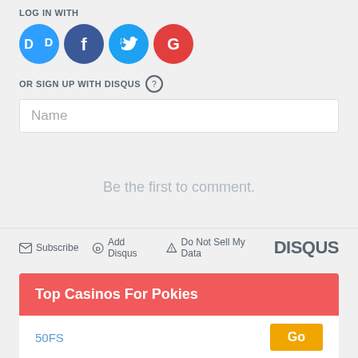LOG IN WITH
[Figure (logo): Four social login icons: Disqus (blue circle with D), Facebook (dark blue circle with f), Twitter (light blue circle with bird), Google (red circle with G)]
OR SIGN UP WITH DISQUS ?
Name
Be the first to comment.
Subscribe  Add Disqus  Do Not Sell My Data  DISQUS
Top Casinos For Pokies
50FS  Go
More Online Casinos